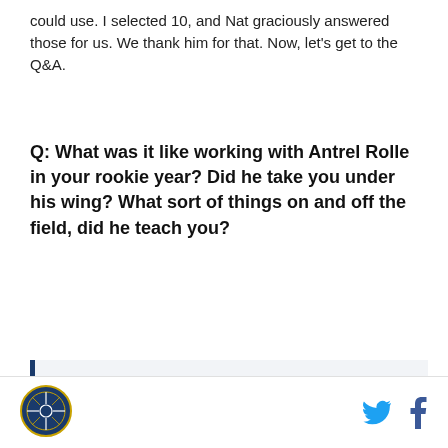could use. I selected 10, and Nat graciously answered those for us. We thank him for that. Now, let's get to the Q&A.
Q: What was it like working with Antrel Rolle in your rookie year? Did he take you under his wing? What sort of things on and off the field, did he teach you?
Nat: Rolle is a hell of a leader and genuinely a great human being. I learned a lot about being a professional from Rolle when you watch a guy do what he's done for as long as he has you look up to him for the blueprint. He definitely took me under his wing and gave me advice on things on and off the
[Figure (logo): Circular logo with emblem in dark blue and gold]